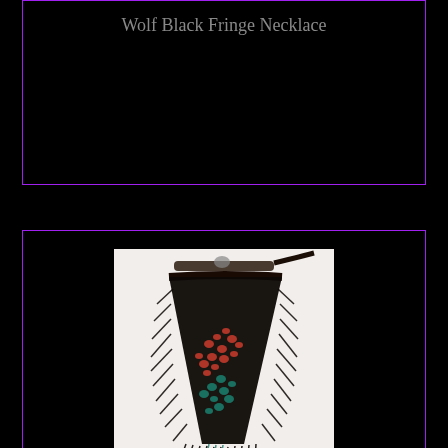Wolf Black Fringe Necklace
[Figure (photo): Dragon Fringe Necklace — a beaded fringe necklace with a triangular drape made of dark beads and a dragon design in red and teal beads, photographed on white background]
Dragon Fringe Necklace
[Figure (photo): Partial view of another fringe necklace at the bottom of the page, cropped]